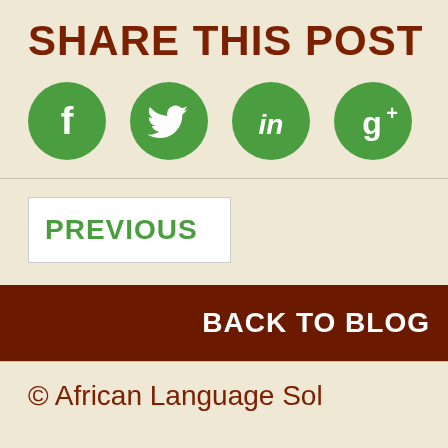SHARE THIS POST
[Figure (infographic): Four green circular social media share buttons: Facebook (f), Twitter (bird), LinkedIn (in), Google+ (g+)]
PREVIOUS
BACK TO BLOG
© African Language Sol